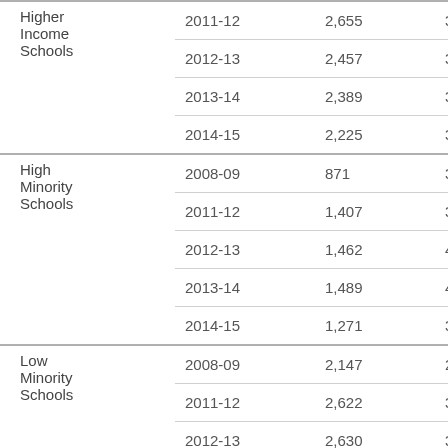| Group | Year | Count | Value |
| --- | --- | --- | --- |
| Higher Income Schools | 2011-12 | 2,655 | 34… |
| Higher Income Schools | 2012-13 | 2,457 | 33… |
| Higher Income Schools | 2013-14 | 2,389 | 33… |
| Higher Income Schools | 2014-15 | 2,225 | 30… |
| High Minority Schools | 2008-09 | 871 | 31… |
| High Minority Schools | 2011-12 | 1,407 | 39… |
| High Minority Schools | 2012-13 | 1,462 | 41… |
| High Minority Schools | 2013-14 | 1,489 | 40… |
| High Minority Schools | 2014-15 | 1,271 | 35… |
| Low Minority Schools | 2008-09 | 2,147 | 26… |
| Low Minority Schools | 2011-12 | 2,622 | 30… |
| Low Minority Schools | 2012-13 | 2,630 | 31… |